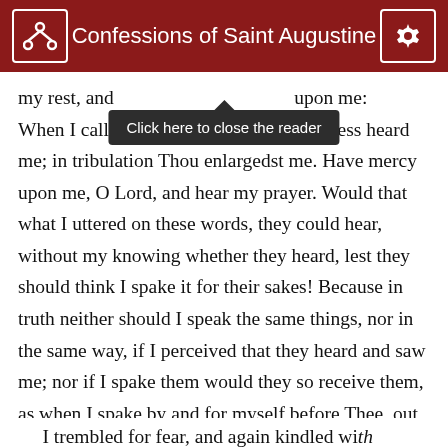Confessions of Saint Augustine
my rest, and ... upon me: When I called, the God of my righteousness heard me; in tribulation Thou enlargedst me. Have mercy upon me, O Lord, and hear my prayer. Would that what I uttered on these words, they could hear, without my knowing whether they heard, lest they should think I spake it for their sakes! Because in truth neither should I speak the same things, nor in the same way, if I perceived that they heard and saw me; nor if I spake them would they so receive them, as when I spake by and for myself before Thee, out of the natural feelings of my soul.
I trembled for fear, and again kindled with...